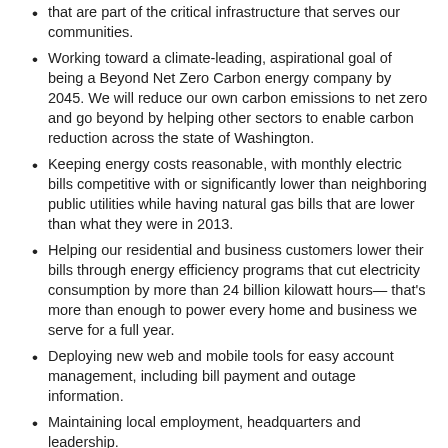that are part of the critical infrastructure that serves our communities.
Working toward a climate-leading, aspirational goal of being a Beyond Net Zero Carbon energy company by 2045. We will reduce our own carbon emissions to net zero and go beyond by helping other sectors to enable carbon reduction across the state of Washington.
Keeping energy costs reasonable, with monthly electric bills competitive with or significantly lower than neighboring public utilities while having natural gas bills that are lower than what they were in 2013.
Helping our residential and business customers lower their bills through energy efficiency programs that cut electricity consumption by more than 24 billion kilowatt hours— that's more than enough to power every home and business we serve for a full year.
Deploying new web and mobile tools for easy account management, including bill payment and outage information.
Maintaining local employment, headquarters and leadership.
CPP Investments
Source: Puget Sound Energy Annual/CPP...